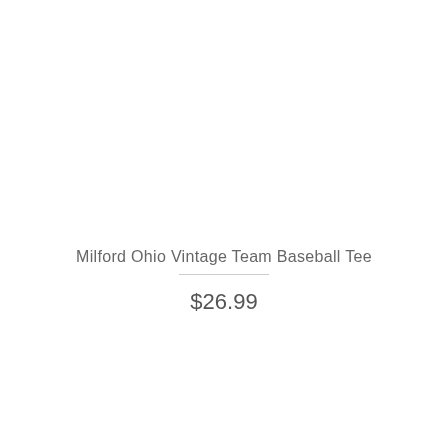Milford Ohio Vintage Team Baseball Tee
$26.99